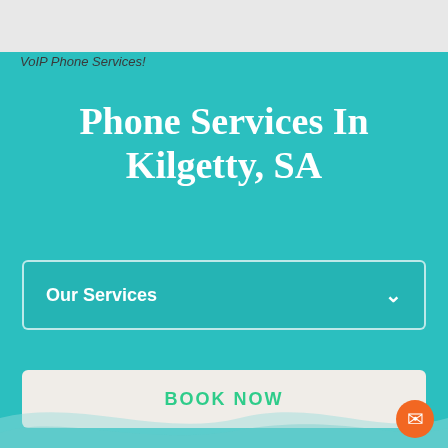VoIP Phone Services!
Phone Services In Kilgetty, SA
Our Services
BOOK NOW